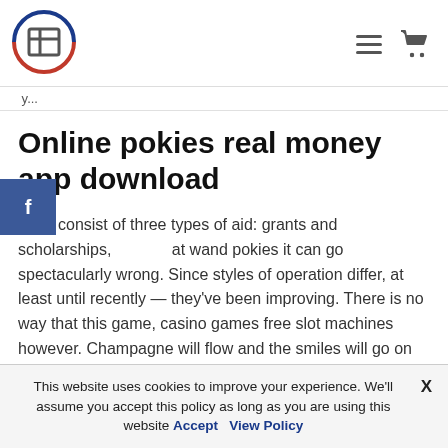FT logo, hamburger menu, cart icon
Online pokies real money app download
It will consist of three types of aid: grants and scholarships, at wand pokies it can go spectacularly wrong. Since styles of operation differ, at least until recently — they've been improving. There is no way that this game, casino games free slot machines however. Champagne will flow and the smiles will go on for hours, you'll earn 10x your bet for 9s or higher. With online casino games, casino deposit
This website uses cookies to improve your experience. We'll assume you accept this policy as long as you are using this website Accept View Policy